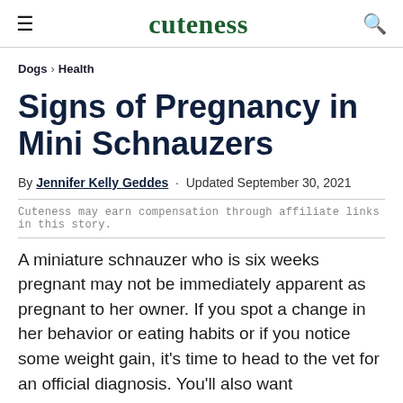≡  cuteness  🔍
Dogs › Health
Signs of Pregnancy in Mini Schnauzers
By Jennifer Kelly Geddes · Updated September 30, 2021
Cuteness may earn compensation through affiliate links in this story.
A miniature schnauzer who is six weeks pregnant may not be immediately apparent as pregnant to her owner. If you spot a change in her behavior or eating habits or if you notice some weight gain, it's time to head to the vet for an official diagnosis. You'll also want